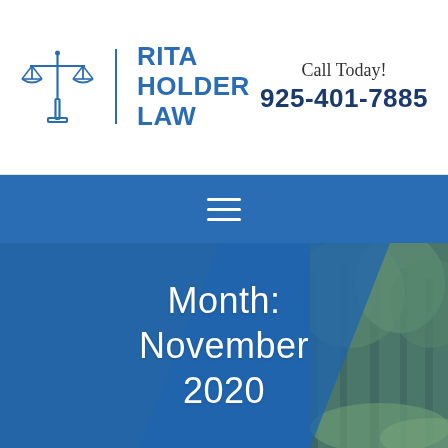[Figure (logo): Rita Holder Law firm logo with scales of justice icon and firm name, plus phone number call-to-action]
[Figure (screenshot): Blue navigation bar with hamburger menu (three horizontal lines) centered on blue background]
Month: November 2020
[Figure (photo): Hero banner with blue overlay on forest background showing text 'Month: November 2020']